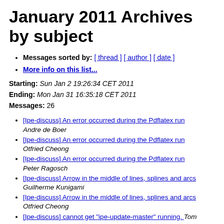January 2011 Archives by subject
Messages sorted by: [ thread ] [ author ] [ date ]
More info on this list...
Starting: Sun Jan 2 19:26:34 CET 2011
Ending: Mon Jan 31 16:35:18 CET 2011
Messages: 26
[Ipe-discuss] An error occurred during the Pdflatex run  Andre de Boer
[Ipe-discuss] An error occurred during the Pdflatex run  Otfried Cheong
[Ipe-discuss] An error occurred during the Pdflatex run  Peter Ragosch
[Ipe-discuss] Arrow in the middle of lines, splines and arcs  Guilherme Kunigami
[Ipe-discuss] Arrow in the middle of lines, splines and arcs  Otfried Cheong
[Ipe-discuss] cannot get "ipe-update-master" running.  Tom
[Ipe-discuss] cannot get "ipe-update-master" running.  Otfried Cheong